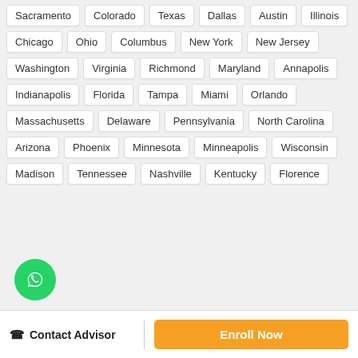Sacramento
Colorado
Texas
Dallas
Austin
Illinois
Chicago
Ohio
Columbus
New York
New Jersey
Washington
Virginia
Richmond
Maryland
Annapolis
Indianapolis
Florida
Tampa
Miami
Orlando
Massachusetts
Delaware
Pennsylvania
North Carolina
Arizona
Phoenix
Minnesota
Minneapolis
Wisconsin
Madison
Tennessee
Nashville
Kentucky
Florence
Contact Advisor
Enroll Now